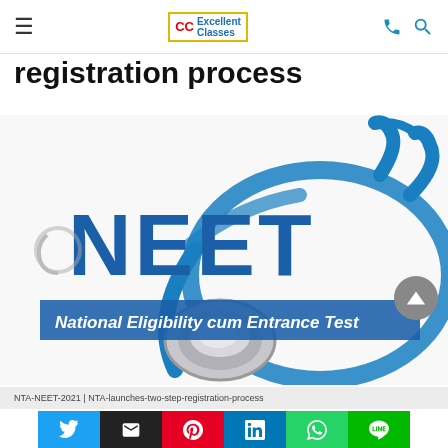CC Excellent Classes — navigation header with hamburger menu, logo, phone and search icons
registration process
[Figure (photo): NEET banner image showing a blue stethoscope on white background with text 'NEET' in large blue bold letters and subtitle 'National Eligibility cum Entrance Test']
NTA-NEET-2021 | NTA-launches-two-step-registration-process
Social share buttons: Twitter, Email, Pinterest, LinkedIn, WhatsApp, LINE